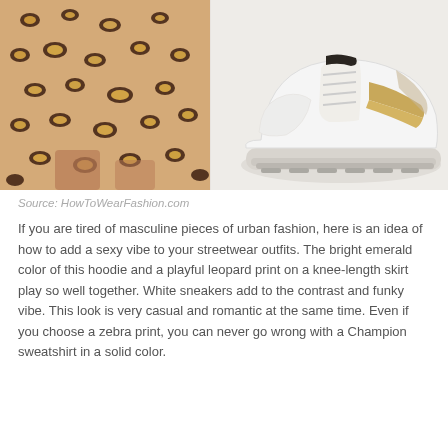[Figure (photo): Left: woman wearing a leopard print knee-length skirt. Right: white chunky sneaker with gold/tan accent stripe.]
Source: HowToWearFashion.com
If you are tired of masculine pieces of urban fashion, here is an idea of how to add a sexy vibe to your streetwear outfits. The bright emerald color of this hoodie and a playful leopard print on a knee-length skirt play so well together. White sneakers add to the contrast and funky vibe. This look is very casual and romantic at the same time. Even if you choose a zebra print, you can never go wrong with a Champion sweatshirt in a solid color.